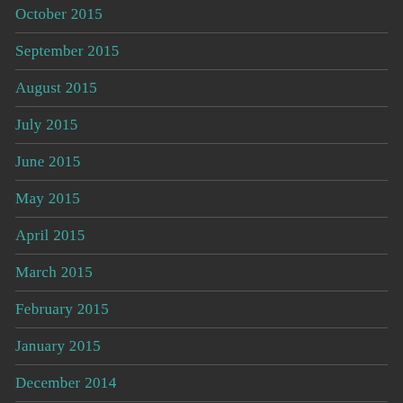October 2015
September 2015
August 2015
July 2015
June 2015
May 2015
April 2015
March 2015
February 2015
January 2015
December 2014
November 2014